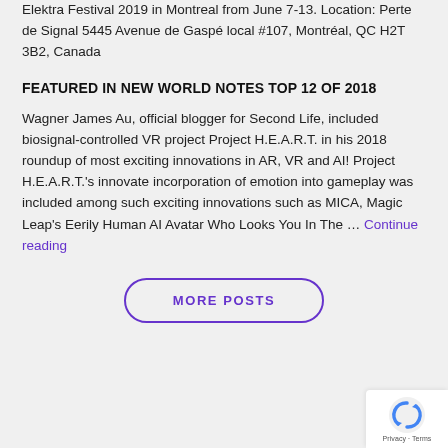Elektra Festival 2019 in Montreal from June 7-13. Location: Perte de Signal 5445 Avenue de Gaspé local #107, Montréal, QC H2T 3B2, Canada
FEATURED IN NEW WORLD NOTES TOP 12 OF 2018
Wagner James Au, official blogger for Second Life, included biosignal-controlled VR project Project H.E.A.R.T. in his 2018 roundup of most exciting innovations in AR, VR and AI! Project H.E.A.R.T.'s innovate incorporation of emotion into gameplay was included among such exciting innovations such as MICA, Magic Leap's Eerily Human AI Avatar Who Looks You In The … Continue reading
MORE POSTS
[Figure (other): reCAPTCHA widget with Privacy and Terms links]